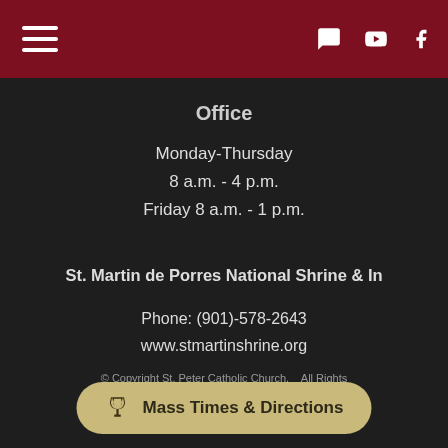Navigation header with hamburger menu and social icons (chat, YouTube, Facebook)
Office
Monday-Thursday
8 a.m. - 4 p.m.
Friday 8 a.m. - 1 p.m.
St. Martin de Porres National Shrine & In
Phone: (901)-578-2643
www.stmartinshrine.org
© Copyright St. Peter Catholic Church.   All Rights
Login | powered by eCatholic®
Mass Times & Directions